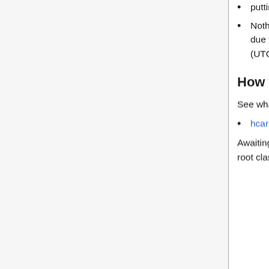putting a microformats property class name on a select element?
Nothing special. By consensus at microformats dev meetup - San Francisco meetup due to lack of real world uses cases / existing sites. Tantek 06:26, 21 January 2015 (UTC)
How to interpret mf2 root name on form
See what to do about root class names on <form> elements in particular:
hcard-input
Awaiting real world examples / stronger use-cases, until then, no special treatment of root class names on <form> elements: